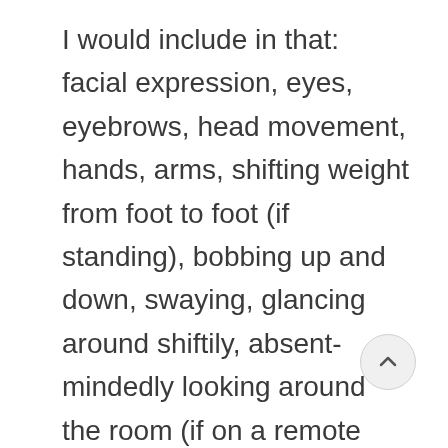I would include in that: facial expression, eyes, eyebrows, head movement, hands, arms, shifting weight from foot to foot (if standing), bobbing up and down, swaying, glancing around shiftily, absent-mindedly looking around the room (if on a remote call), eye contact (with the camera/webcam or interviewer, if they're with you). Plus some off-the-wall examples I have seen, including: stroking your thigh during an interview (yes!), twisting the fabric of your jacket, fiddling with bangles/watch etc. The are what a poker player would call your “tell”, the leaking out of your anxiety, a displacement activity for your nerves.